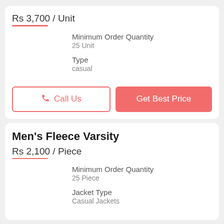Rs 3,700 / Unit
Minimum Order Quantity
25 Unit
Type
casual
Call Us
Get Best Price
Men's Fleece Varsity
Rs 2,100 / Piece
Minimum Order Quantity
25 Piece
Jacket Type
Casual Jackets